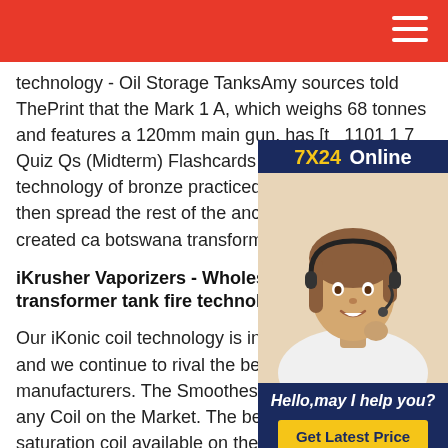technology - Oil Storage TanksAmy sources told ThePrint that the Mark 1 A, which weighs 68 tonnes and features a 120mm main gun, has [to 1101 1 7 Quiz Qs (Midterm) Flashcards Quizlet[steel]The technology of bronze practiced in East Asia, and then spread the rest of the ancient world E. Paleolit created ca botswana transformer tank
[Figure (photo): Chat support widget with '7X24 Online' header, photo of woman with headset, 'Hello,may I help you?' text, and 'Get Latest Price' button]
iKrusher Vaporizers - Wholesale Vap botswana transformer tank fire technology
Our iKonic coil technology is in its 6 th Generation and we continue to rival the best cart manufacturers. The Smoothest Heat-Distribution of any Coil on the Market. The best continuous-saturation coil available on the market today. Achieve extra sessions and perfect